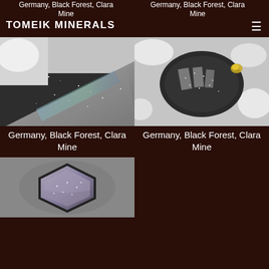TOMEIK MINERALS
Germany, Black Forest, Clara Mine
Germany, Black Forest, Clara Mine
[Figure (photo): Close-up photo of a silvery-metalite mineral specimen with iridescent blue-green sheen, triangular crystal face, from Germany, Black Forest, Clara Mine]
[Figure (photo): Close-up photo of a dark metallic mineral specimen with sparkly silver crystal faces and small gold accents, on white matrix, from Germany, Black Forest, Clara Mine]
Germany, Black Forest, Clara Mine
Germany, Black Forest, Clara Mine
[Figure (photo): Close-up photo of a hexagonal metallic mineral crystal specimen with iridescent sparkly surface, from Germany, Black Forest, Clara Mine]